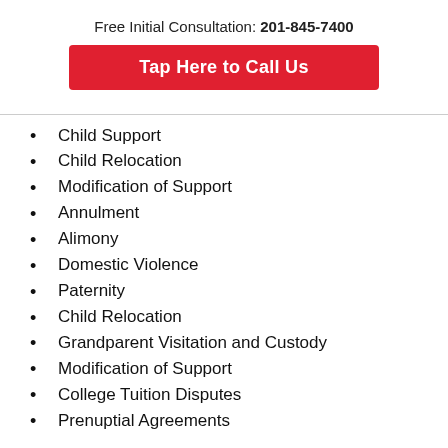Free Initial Consultation: 201-845-7400
Tap Here to Call Us
Child Support
Child Relocation
Modification of Support
Annulment
Alimony
Domestic Violence
Paternity
Child Relocation
Grandparent Visitation and Custody
Modification of Support
College Tuition Disputes
Prenuptial Agreements